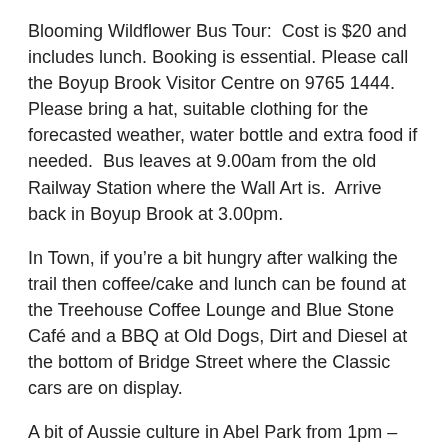Blooming Wildflower Bus Tour:  Cost is $20 and includes lunch. Booking is essential. Please call the Boyup Brook Visitor Centre on 9765 1444.  Please bring a hat, suitable clothing for the forecasted weather, water bottle and extra food if needed.  Bus leaves at 9.00am from the old Railway Station where the Wall Art is.  Arrive back in Boyup Brook at 3.00pm.
In Town, if you’re a bit hungry after walking the trail then coffee/cake and lunch can be found at the Treehouse Coffee Lounge and Blue Stone Café and a BBQ at Old Dogs, Dirt and Diesel at the bottom of Bridge Street where the Classic cars are on display.
A bit of Aussie culture in Abel Park from 1pm – 2pm when our Bush Poets will have their say along with working artists.